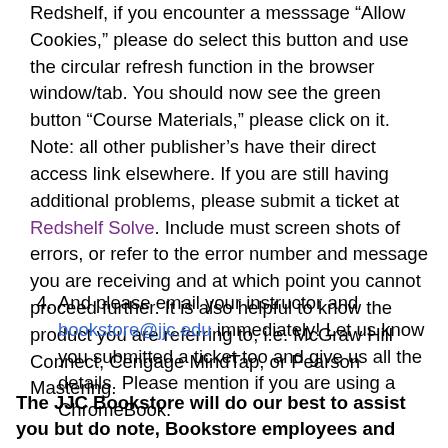Redshelf, if you encounter a messsage 'Allow Cookies,' please do select this button and use the circular refresh function in the browser window/tab. You should now see the green button "Course Materials," please click on it. Note: all other publisher's have their direct access link elsewhere. If you are still having additional problems, please submit a ticket at Redshelf Solve. Include must screen shots of errors, or refer to the error number and message you are receiving and at which point you cannot proceed further. It is also helpful to know the product you are referring to, i.e. McGraw Hill Connect, Cengage MindTap, or Pearson Mastering.
And please email your instructor and bookstore@jjc.edu immediately! Let us know you submitted a ticket too and give us all the details. Please mention if you are using a ChromeBook.
The JJC Bookstore will do our best to assist you but do note, Bookstore employees and publishers are not available after operating hours, holidays, and week-